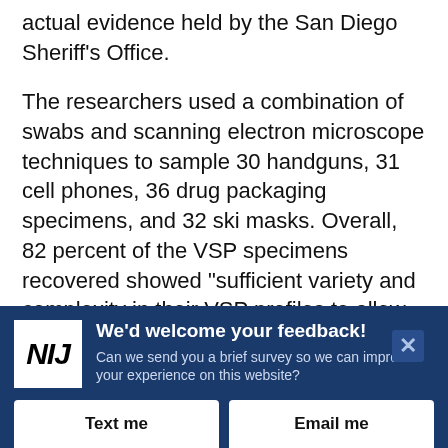actual evidence held by the San Diego Sheriff's Office.
The researchers used a combination of swabs and scanning electron microscope techniques to sample 30 handguns, 31 cell phones, 36 drug packaging specimens, and 32 ski masks. Overall, 82 percent of the VSP specimens recovered showed "sufficient variety and complexity in their VSP profiles to allow meaningful classification."
After sampling and analyzing the VSP populations from the objects, the researchers said the data "were sufficient to permit quantitative associations among
[Figure (infographic): NIJ feedback banner with logo, title 'We'd welcome your feedback!', subtitle text, close button, and two buttons: 'Text me' and 'Email me']